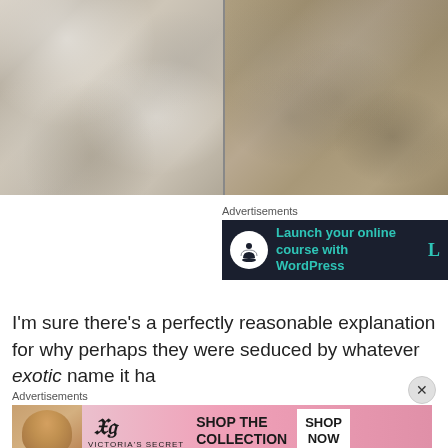[Figure (photo): Before and after comparison photos of a stone/tile surface, split vertically. Left side appears lighter/whiter, right side appears darker/more tanned with visible texture patterns.]
Advertisements
[Figure (other): Advertisement banner with dark navy background, showing a circular white icon with a tree/person icon and teal text reading 'Launch your online course with WordPress']
I'm sure there’s a perfectly reasonable explanation for why perhaps they were seduced by whatever exotic name it ha
Advertisements
[Figure (other): Victoria's Secret advertisement banner on pink gradient background showing a model, VS logo, 'VICTORIAS SECRET', 'SHOP THE COLLECTION', and 'SHOP NOW' button]